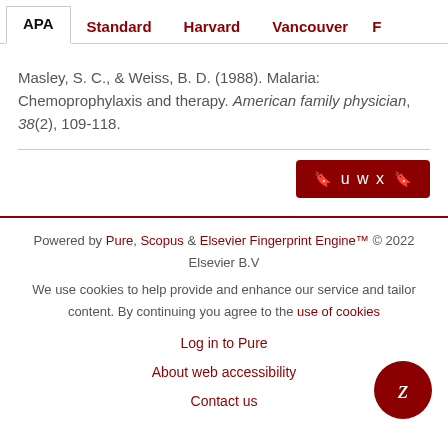APA | Standard | Harvard | Vancouver | F
Masley, S. C., & Weiss, B. D. (1988). Malaria: Chemoprophylaxis and therapy. American family physician, 38(2), 109-118.
[Figure (other): Dark red button with symbols: bookmark icon, u w x, bookmark icon]
Powered by Pure, Scopus & Elsevier Fingerprint Engine™ © 2022 Elsevier B.V
We use cookies to help provide and enhance our service and tailor content. By continuing you agree to the use of cookies
Log in to Pure
About web accessibility
Contact us